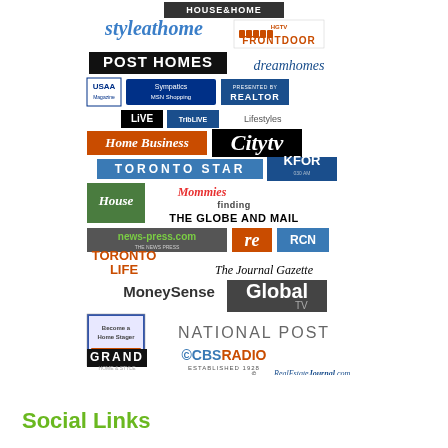[Figure (illustration): Collage of media logos including House & Home, styleathome, HGTV FrontDoor, POST HOMES, dreamhomes, Sympatics MSN Shopping, REALTOR Magazine, USAA Magazine, LIVE, TribLIVE Lifestyles, HOME BUSINESS, Citytv, TORONTO STAR, KFOR, House, Mommies, THE GLOBE AND MAIL, news-press.com, re, RCN, TORONTO LIFE, The Journal Gazette, MoneySense, Global TV, Become a Home Stager book, NATIONAL POST, CBS RADIO, GRAND, RealEstateJournal.com]
Social Links